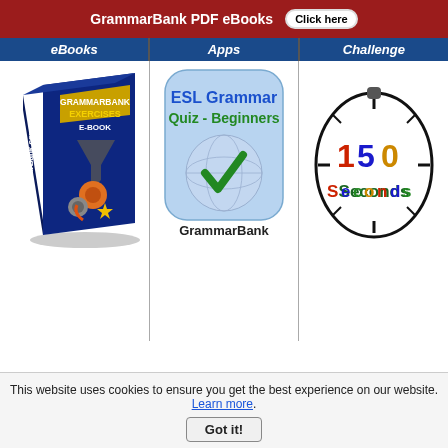GrammarBank PDF eBooks  Click here
| eBooks | Apps | Challenge |
| --- | --- | --- |
| [GrammarBank eBook illustration] | [ESL Grammar Quiz - Beginners App icon] | [150 Seconds clock illustration] |
This website uses cookies to ensure you get the best experience on our website. Learn more. Got it!